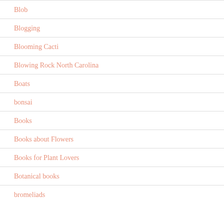Blob
Blogging
Blooming Cacti
Blowing Rock North Carolina
Boats
bonsai
Books
Books about Flowers
Books for Plant Lovers
Botanical books
bromeliads